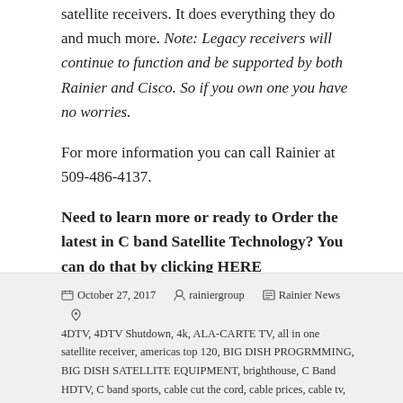satellite receivers. It does everything they do and much more. Note: Legacy receivers will continue to function and be supported by both Rainier and Cisco. So if you own one you have no worries.
For more information you can call Rainier at 509-486-4137.
Need to learn more or ready to Order the latest in C band Satellite Technology? You can do that by clicking HERE
October 27, 2017  rainiergroup  Rainier News  4DTV, 4DTV Shutdown, 4k, ALA-CARTE TV, all in one satellite receiver, americas top 120, BIG DISH PROGRMMING, BIG DISH SATELLITE EQUIPMENT, brighthouse, C Band HDTV, C band sports, cable cut the cord, cable prices, cable tv, charter cable,